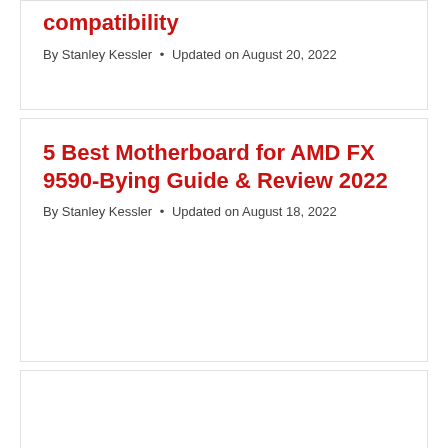compatibility
By Stanley Kessler • Updated on August 20, 2022
5 Best Motherboard for AMD FX 9590-Bying Guide & Review 2022
By Stanley Kessler • Updated on August 18, 2022